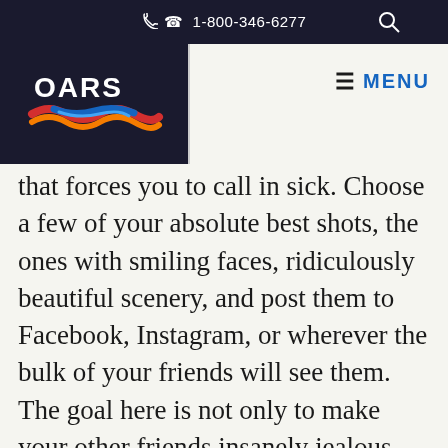1-800-346-6277
[Figure (logo): OARS logo with colorful river/wave graphic on dark navy background]
that forces you to call in sick. Choose a few of your absolute best shots, the ones with smiling faces, ridiculously beautiful scenery, and post them to Facebook, Instagram, or wherever the bulk of your friends will see them. The goal here is not only to make your other friends insanely jealous, but to solidify the bond with your boat mates. Get them to engage with the post by cracking an inside joke or committing one of their river quotes to posterity in a thoughtful, well-crafted